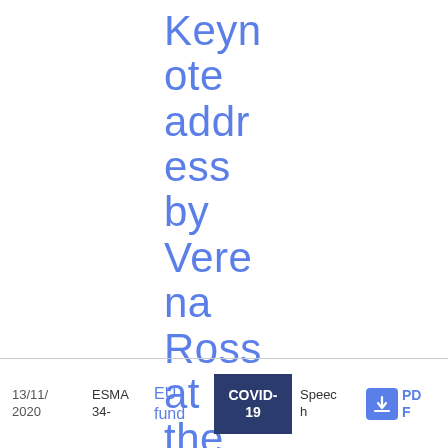Keynote address by Verena Ross at the AIMA forum on 19 November 2020
13/11/2020  ESMA 34-  EU fund  COVID-19  Speech  PDF